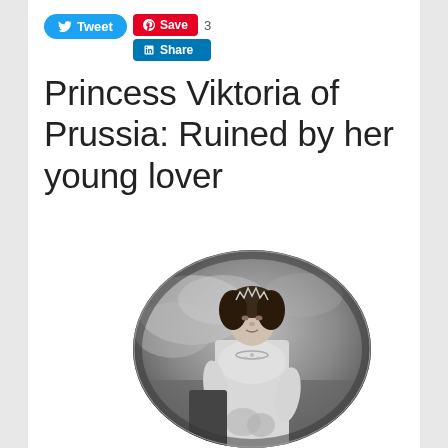[Figure (screenshot): Social media sharing toolbar with Tweet button (blue, rounded), Save button (red, Pinterest), Share button (blue, LinkedIn), and count '3']
Princess Viktoria of Prussia: Ruined by her young lover
[Figure (photo): Black and white oval portrait photograph of Princess Viktoria of Prussia, a woman in Edwardian-era dress with jewelry, seated, with a dramatic cloudy background]